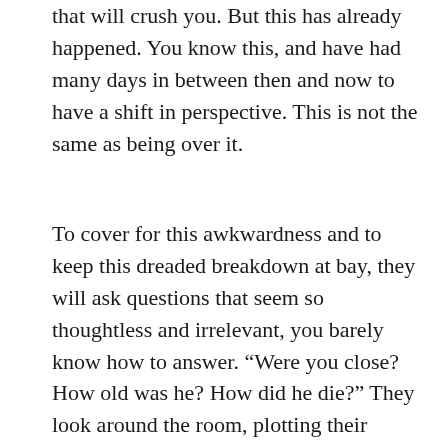that will crush you. But this has already happened. You know this, and have had many days in between then and now to have a shift in perspective. This is not the same as being over it.
To cover for this awkwardness and to keep this dreaded breakdown at bay, they will ask questions that seem so thoughtless and irrelevant, you barely know how to answer. “Were you close? How old was he? How did he die?” They look around the room, plotting their escape. You try to explain that as time goes by, the love goes up and the pain goes